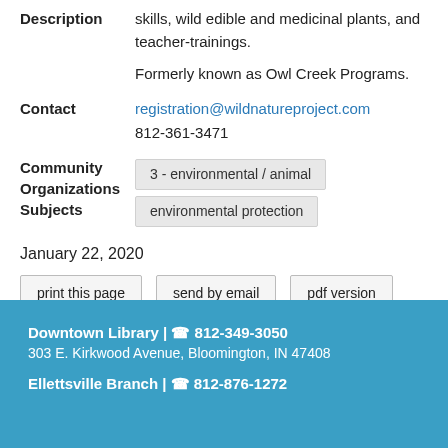skills, wild edible and medicinal plants, and teacher-trainings.
Formerly known as Owl Creek Programs.
registration@wildnatureproject.com
812-361-3471
Community Organizations Subjects: 3 - environmental / animal, environmental protection
January 22, 2020
print this page
send by email
pdf version
Downtown Library | 812-349-3050
303 E. Kirkwood Avenue, Bloomington, IN 47408
Ellettsville Branch | 812-876-1272